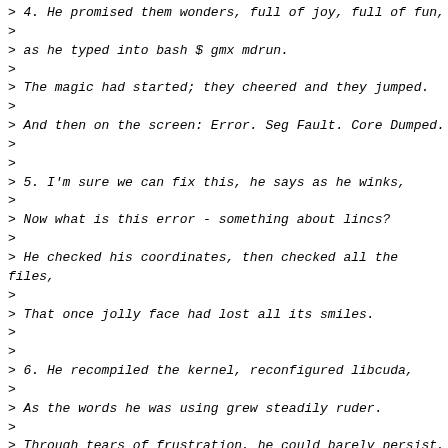> 4. He promised them wonders, full of joy, full of fun,
>
> as he typed into bash $ gmx mdrun.
>
> The magic had started; they cheered and they jumped.
>
> And then on the screen: Error. Seg Fault. Core Dumped.
>
>
> 5. I'm sure we can fix this, he says as he winks,
>
> Now what is this error - something about lincs?
>
> He checked his coordinates, then checked all the files,
>
> That once jolly face had lost all its smiles.
>
>
> 6. He recompiled the kernel, reconfigured libcuda,
>
> As the words he was using grew steadily ruder.
>
> Through tears of frustration, he could barely persist,
>
> Even braved the wrath of the gromacs mailing list.
>